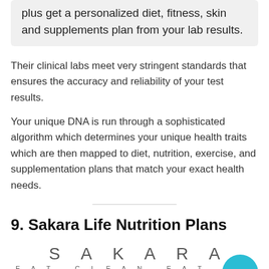plus get a personalized diet, fitness, skin and supplements plan from your lab results.
Their clinical labs meet very stringent standards that ensures the accuracy and reliability of your test results.
Your unique DNA is run through a sophisticated algorithm which determines your unique health traits which are then mapped to diet, nutrition, exercise, and supplementation plans that match your exact health needs.
9. Sakara Life Nutrition Plans
[Figure (logo): Sakara logo with text SAKARA EAT CLEAN EAT WHOLE in light gray thin lettering]